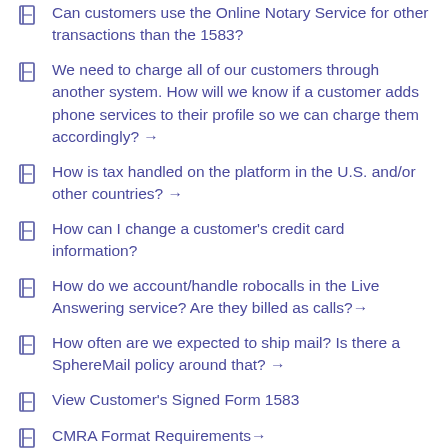Can customers use the Online Notary Service for other transactions than the 1583?
We need to charge all of our customers through another system. How will we know if a customer adds phone services to their profile so we can charge them accordingly? →
How is tax handled on the platform in the U.S. and/or other countries? →
How can I change a customer's credit card information?
How do we account/handle robocalls in the Live Answering service? Are they billed as calls? →
How often are we expected to ship mail? Is there a SphereMail policy around that? →
View Customer's Signed Form 1583
CMRA Format Requirements →
How do you delete mail from the virtual member's memory bank when entering mail? →